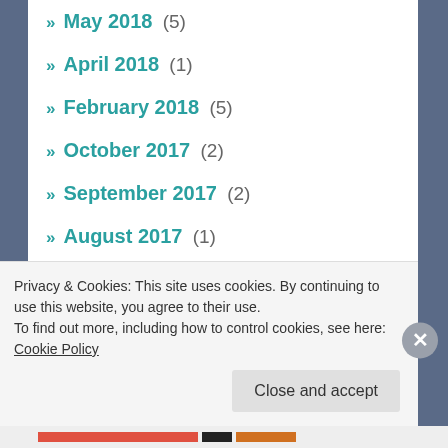» May 2018 (5)
» April 2018 (1)
» February 2018 (5)
» October 2017 (2)
» September 2017 (2)
» August 2017 (1)
» July 2017 (2)
» June 2017 (7)
» May 2017 (12)
» April 2017 (2)
» January 2017 (2)
Privacy & Cookies: This site uses cookies. By continuing to use this website, you agree to their use. To find out more, including how to control cookies, see here: Cookie Policy